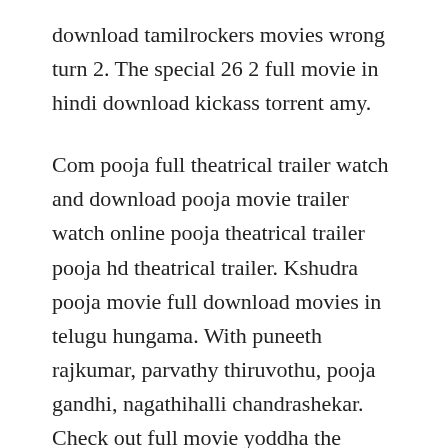download tamilrockers movies wrong turn 2. The special 26 2 full movie in hindi download kickass torrent amy.
Com pooja full theatrical trailer watch and download pooja movie trailer watch online pooja theatrical trailer pooja hd theatrical trailer. Kshudra pooja movie full download movies in telugu hungama. With puneeth rajkumar, parvathy thiruvothu, pooja gandhi, nagathihalli chandrashekar. Check out full movie yoddha the warrior 2014 download, movies counter, new online movies in bengali